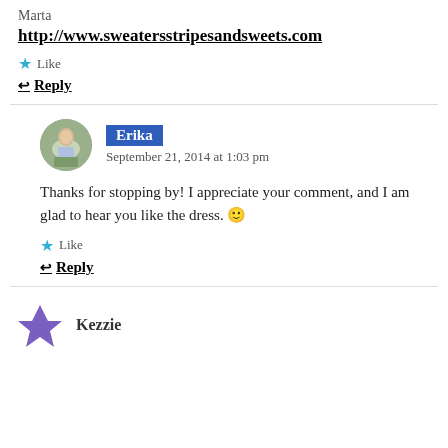Marta
http://www.sweatersstripes andsweets.com
★ Like
↩ Reply
[Figure (photo): Circular avatar photo of Erika, a woman in a light dress standing outdoors in a garden setting]
Erika
September 21, 2014 at 1:03 pm
Thanks for stopping by! I appreciate your comment, and I am glad to hear you like the dress. 🙂
★ Like
↩ Reply
[Figure (logo): Purple pinwheel/star icon for Kezzie]
Kezzie